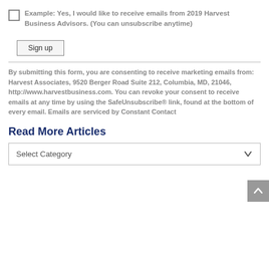Example: Yes, I would like to receive emails from 2019 Harvest Business Advisors. (You can unsubscribe anytime)
Sign up
By submitting this form, you are consenting to receive marketing emails from: Harvest Associates, 9520 Berger Road Suite 212, Columbia, MD, 21046, http://www.harvestbusiness.com. You can revoke your consent to receive emails at any time by using the SafeUnsubscribe® link, found at the bottom of every email. Emails are serviced by Constant Contact
Read More Articles
Select Category